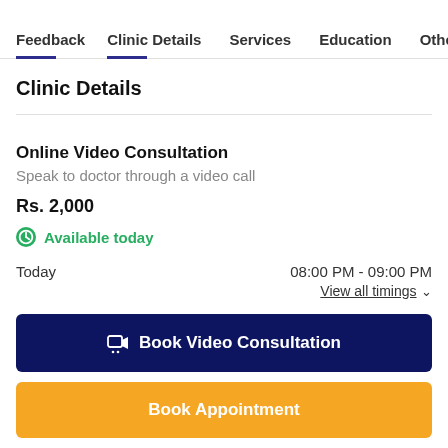Feedback  Clinic Details  Services  Education  Othe
Clinic Details
Online Video Consultation
Speak to doctor through a video call
Rs. 2,000
Available today
Today  08:00 PM - 09:00 PM
View all timings
Book Video Consultation
Book Appointment